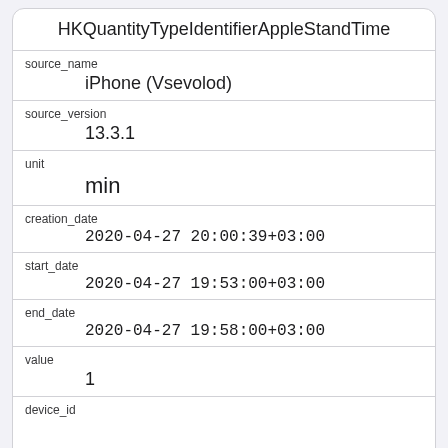| field | value |
| --- | --- |
|  | HKQuantityTypeIdentifierAppleStandTime |
| source_name | iPhone (Vsevolod) |
| source_version | 13.3.1 |
| unit | min |
| creation_date | 2020-04-27 20:00:39+03:00 |
| start_date | 2020-04-27 19:53:00+03:00 |
| end_date | 2020-04-27 19:58:00+03:00 |
| value | 1 |
| device_id |  |
| field | value |
| --- | --- |
| id | 367976 |